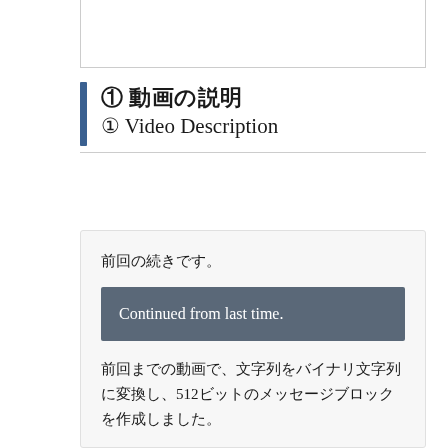[Figure (screenshot): Partial screenshot of a banner/header area cropped at top of page]
① 動画の説明
① Video Description
前回の続きです。
Continued from last time.
前回までの動画で、文字列をバイナリ文字列に変換し、512ビットのメッセージブロックを作成しました。